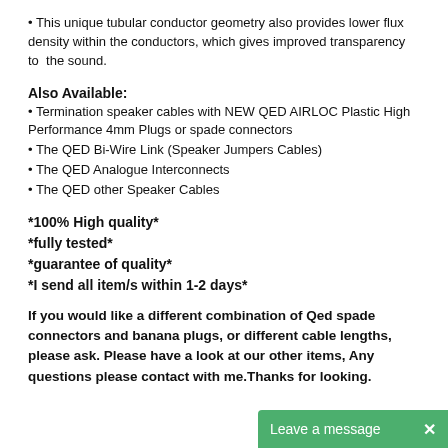• This unique tubular conductor geometry also provides lower flux density within the conductors, which gives improved transparency to the sound.
Also Available:
• Termination speaker cables with NEW QED AIRLOC Plastic High Performance 4mm Plugs or spade connectors
• The QED Bi-Wire Link (Speaker Jumpers Cables)
• The QED Analogue Interconnects
• The QED other Speaker Cables
*100% High quality*
*fully tested*
*guarantee of quality*
*I send all item/s within 1-2 days*
If you would like a different combination of Qed spade connectors and banana plugs, or different cable lengths, please ask. Please have a look at our other items, Any questions please contact with me.Thanks for looking.